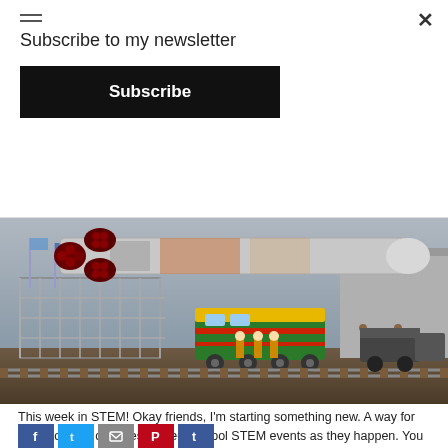Subscribe to my newsletter
Subscribe
[Figure (photo): A Soyuz rocket being transported horizontally on a railway flatcar at a launch facility (likely Baikonur Cosmodrome), pulled by a green-yellow diesel locomotive. Personnel in orange/yellow suits are visible on the ground. Metal fencing and a building are in the background. Trees and flags visible on the left.]
This week in STEM! Okay friends, I'm starting something new. A way for us all to keep our eyes peeled on cool STEM events as they happen. You can add these events to your schedule and prep a little with some dinner table talk. I'll make it easy for us all and spell it out...